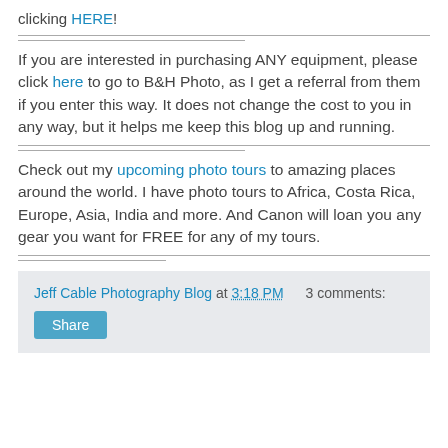clicking HERE!
If you are interested in purchasing ANY equipment, please click here to go to B&H Photo, as I get a referral from them if you enter this way. It does not change the cost to you in any way, but it helps me keep this blog up and running.
Check out my upcoming photo tours to amazing places around the world. I have photo tours to Africa, Costa Rica, Europe, Asia, India and more. And Canon will loan you any gear you want for FREE for any of my tours.
Jeff Cable Photography Blog at 3:18 PM   3 comments: